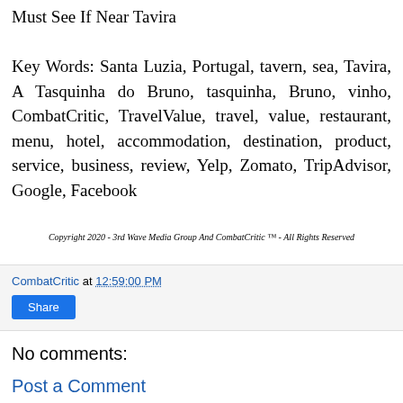Must See If Near Tavira
Key Words: Santa Luzia, Portugal, tavern, sea, Tavira, A Tasquinha do Bruno, tasquinha, Bruno, vinho, CombatCritic, TravelValue, travel, value, restaurant, menu, hotel, accommodation, destination, product, service, business, review, Yelp, Zomato, TripAdvisor, Google, Facebook
Copyright 2020 - 3rd Wave Media Group And CombatCritic ™ - All Rights Reserved
CombatCritic at 12:59:00 PM
Share
No comments:
Post a Comment